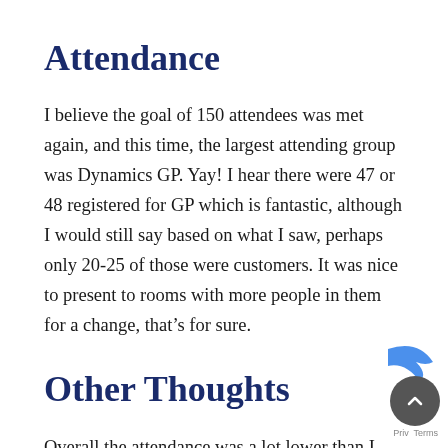Attendance
I believe the goal of 150 attendees was met again, and this time, the largest attending group was Dynamics GP. Yay! I hear there were 47 or 48 registered for GP which is fantastic, although I would still say based on what I saw, perhaps only 20-25 of those were customers. It was nice to present to rooms with more people in them for a change, that’s for sure.
Other Thoughts
Overall the attendance was a lot lower than I was exp... and that really surprised me, in each city, where we kn... there are strong reseller presences and therefore stro...